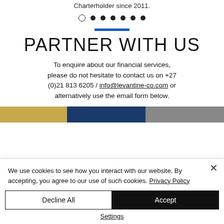Charterholder since 2011.
[Figure (other): Navigation dots row: one open circle followed by six filled circles]
[Figure (other): Blue horizontal bar divider]
PARTNER WITH US
To enquire about our financial services, please do not hesitate to contact us on +27 (0)21 813 6205 / info@levantine-co.com or alternatively use the email form below.
[Figure (photo): Partial photo strip showing gold, dark blue, and grey sections — cropped at bottom of page]
We use cookies to see how you interact with our website. By accepting, you agree to our use of such cookies. Privacy Policy
Decline All
Accept
Settings